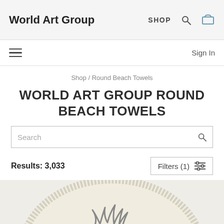World Art Group | SHOP
Sign In
Shop / Round Beach Towels
WORLD ART GROUP ROUND BEACH TOWELS
Search
Results: 3,033
Filters (1)
[Figure (photo): Partial view of a round beach towel with a nature/antler design on a cream-colored background, shown from above.]